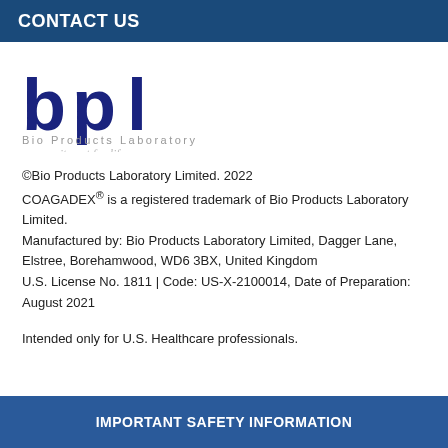CONTACT US
[Figure (logo): BPL Bio Products Laboratory logo with tagline 'a commitment for life']
©Bio Products Laboratory Limited. 2022
COAGADEX® is a registered trademark of Bio Products Laboratory Limited.
Manufactured by: Bio Products Laboratory Limited, Dagger Lane, Elstree, Borehamwood, WD6 3BX, United Kingdom
U.S. License No. 1811 | Code: US-X-2100014, Date of Preparation: August 2021
Intended only for U.S. Healthcare professionals.
IMPORTANT SAFETY INFORMATION